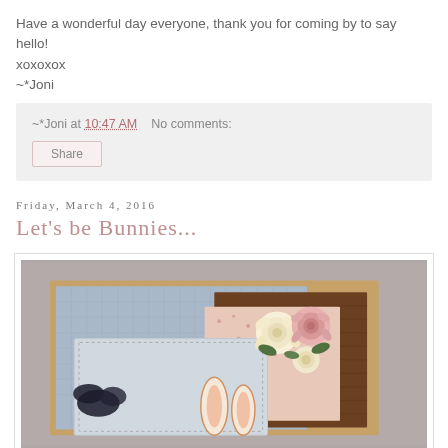Have a wonderful day everyone, thank you for coming by to say hello!
xoxoxox
~*Joni
~*Joni at 10:47 AM   No comments:
Share
Friday, March 4, 2016
Let's be Bunnies...
[Figure (photo): A handmade craft card featuring layered decorative paper panels with floral patterned paper, a wood grain background, sparkly silver/blue cardstock, and cream and pink rose embellishments on top. The card appears to have bunny ear die-cuts visible at the bottom.]